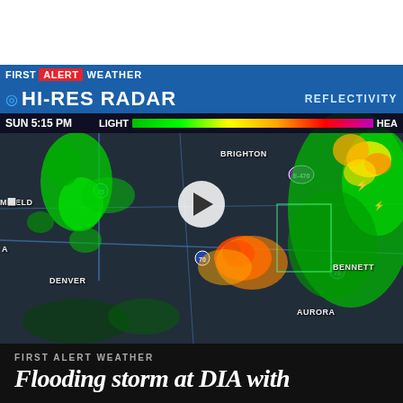[Figure (screenshot): Weather broadcast screenshot showing a meteorologist presenting a hi-res radar map of the Denver/Aurora/Brighton Colorado area. The radar display shows green, yellow, orange, and red precipitation areas. The banner reads 'FIRST ALERT WEATHER' and 'HI-RES RADAR' with 'REFLECTIVITY' legend. Time shown: SUN 5:15 PM. A play button overlay indicates this is a video thumbnail.]
FIRST ALERT WEATHER
Flooding storm at DIA with...